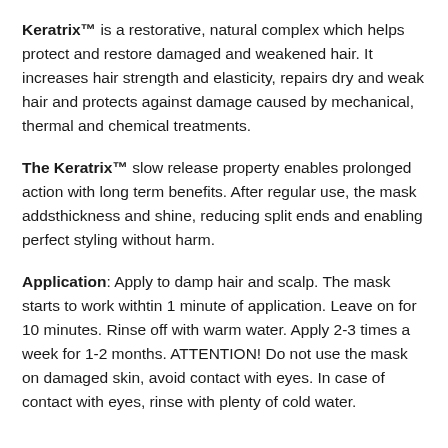Keratrix™ is a restorative, natural complex which helps protect and restore damaged and weakened hair. It increases hair strength and elasticity, repairs dry and weak hair and protects against damage caused by mechanical, thermal and chemical treatments.
The Keratrix™ slow release property enables prolonged action with long term benefits. After regular use, the mask addsthickness and shine, reducing split ends and enabling perfect styling without harm.
Application: Apply to damp hair and scalp. The mask starts to work withtin 1 minute of application. Leave on for 10 minutes. Rinse off with warm water. Apply 2-3 times a week for 1-2 months. ATTENTION! Do not use the mask on damaged skin, avoid contact with eyes. In case of contact with eyes, rinse with plenty of cold water.